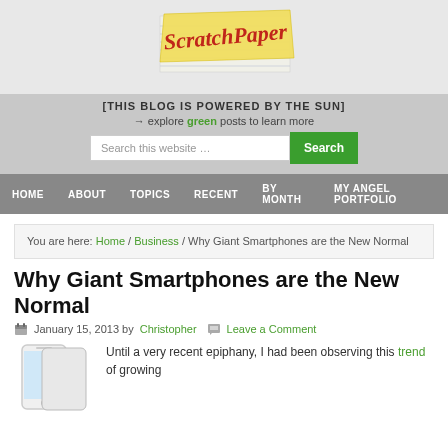[Figure (logo): ScratchPaper blog logo — yellow sticky note with red handwritten 'ScratchPaper' text on lined paper background]
[THIS BLOG IS POWERED BY THE SUN]
→ explore green posts to learn more
Search this website …  [Search button]
HOME   ABOUT   TOPICS   RECENT   BY MONTH   MY ANGEL PORTFOLIO
You are here: Home / Business / Why Giant Smartphones are the New Normal
Why Giant Smartphones are the New Normal
January 15, 2013 by Christopher   Leave a Comment
Until a very recent epiphany, I had been observing this trend of growing